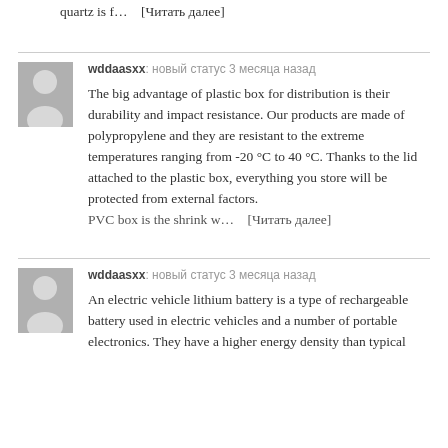quartz is f…   [Читать далее]
wddaasxx: новый статус 3 месяца назад
The big advantage of plastic box for distribution is their durability and impact resistance. Our products are made of polypropylene and they are resistant to the extreme temperatures ranging from -20 °C to 40 °C. Thanks to the lid attached to the plastic box, everything you store will be protected from external factors.
PVC box is the shrink w…   [Читать далее]
wddaasxx: новый статус 3 месяца назад
An electric vehicle lithium battery is a type of rechargeable battery used in electric vehicles and a number of portable electronics. They have a higher energy density than typical